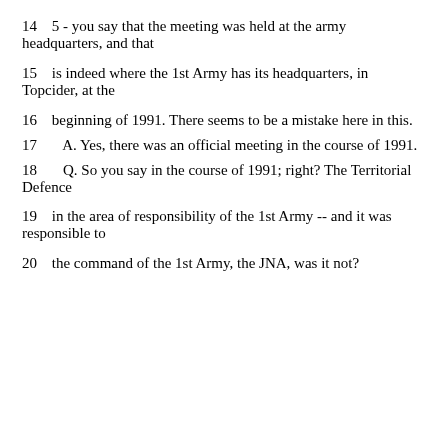14   5 - you say that the meeting was held at the army headquarters, and that
15   is indeed where the 1st Army has its headquarters, in Topcider, at the
16   beginning of 1991.  There seems to be a mistake here in this.
17     A.  Yes, there was an official meeting in the course of 1991.
18     Q.  So you say in the course of 1991; right?  The Territorial Defence
19   in the area of responsibility of the 1st Army -- and it was responsible to
20   the command of the 1st Army, the JNA, was it not?